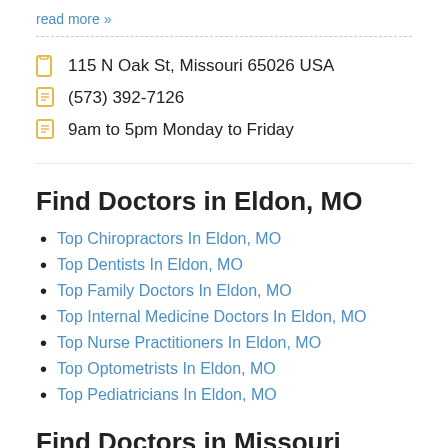read more »
115 N Oak St, Missouri 65026 USA
(573) 392-7126
9am to 5pm Monday to Friday
Find Doctors in Eldon, MO
Top Chiropractors In Eldon, MO
Top Dentists In Eldon, MO
Top Family Doctors In Eldon, MO
Top Internal Medicine Doctors In Eldon, MO
Top Nurse Practitioners In Eldon, MO
Top Optometrists In Eldon, MO
Top Pediatricians In Eldon, MO
Find Doctors in Missouri